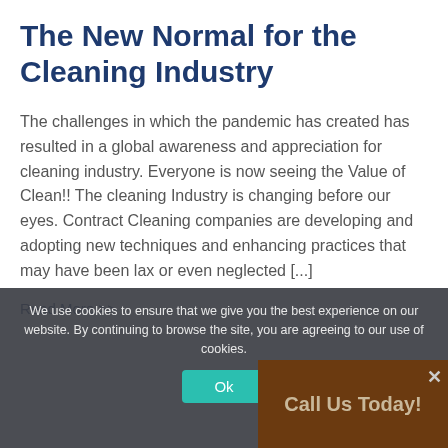The New Normal for the Cleaning Industry
The challenges in which the pandemic has created has resulted in a global awareness and appreciation for cleaning industry. Everyone is now seeing the Value of Clean!! The cleaning Industry is changing before our eyes. Contract Cleaning companies are developing and adopting new techniques and enhancing practices that may have been lax or even neglected [...]
Read More >>
We use cookies to ensure that we give you the best experience on our website. By continuing to browse the site, you are agreeing to our use of cookies.
Ok
Call Us Today!